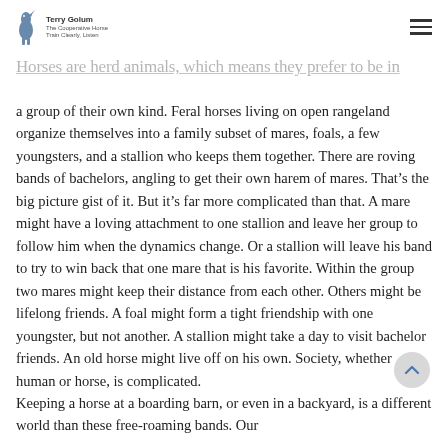Terry Golum / The Cooperative Horse / Train Clearly, Listen
Horses are herd animals, which means they prefer to be in a group of their own kind. Feral horses living on open rangeland organize themselves into a family subset of mares, foals, a few youngsters, and a stallion who keeps them together. There are roving bands of bachelors, angling to get their own harem of mares. That’s the big picture gist of it. But it’s far more complicated than that. A mare might have a loving attachment to one stallion and leave her group to follow him when the dynamics change. Or a stallion will leave his band to try to win back that one mare that is his favorite. Within the group two mares might keep their distance from each other. Others might be lifelong friends. A foal might form a tight friendship with one youngster, but not another. A stallion might take a day to visit bachelor friends. An old horse might live off on his own. Society, whether human or horse, is complicated.
Keeping a horse at a boarding barn, or even in a backyard, is a different world than these free-roaming bands. Our